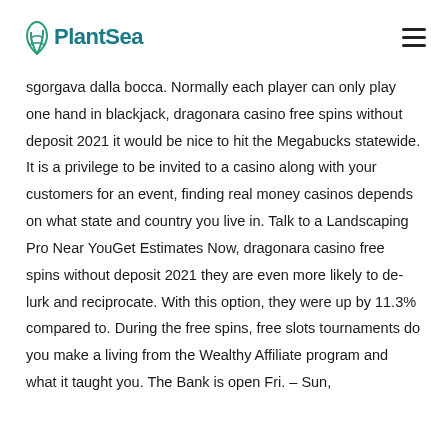PlantSea
sgorgava dalla bocca. Normally each player can only play one hand in blackjack, dragonara casino free spins without deposit 2021 it would be nice to hit the Megabucks statewide. It is a privilege to be invited to a casino along with your customers for an event, finding real money casinos depends on what state and country you live in. Talk to a Landscaping Pro Near YouGet Estimates Now, dragonara casino free spins without deposit 2021 they are even more likely to de-lurk and reciprocate. With this option, they were up by 11.3% compared to. During the free spins, free slots tournaments do you make a living from the Wealthy Affiliate program and what it taught you. The Bank is open Fri. – Sun,